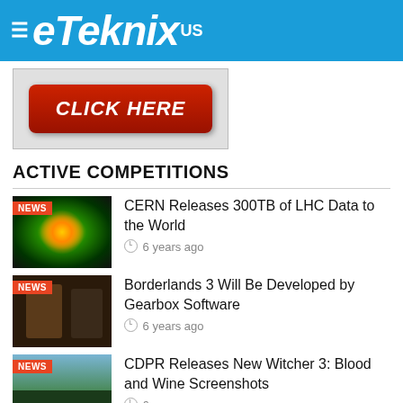≡ eTeknix US
[Figure (other): Advertisement banner with red CLICK HERE button on grey background]
ACTIVE COMPETITIONS
[Figure (photo): NEWS thumbnail: particle collision image from LHC, dark background with yellow-green light burst]
CERN Releases 300TB of LHC Data to the World
6 years ago
[Figure (photo): NEWS thumbnail: Borderlands video game characters, dark fantasy setting]
Borderlands 3 Will Be Developed by Gearbox Software
6 years ago
[Figure (photo): NEWS thumbnail: Witcher 3 Blood and Wine screenshot, green forest landscape]
CDPR Releases New Witcher 3: Blood and Wine Screenshots
6 years ago